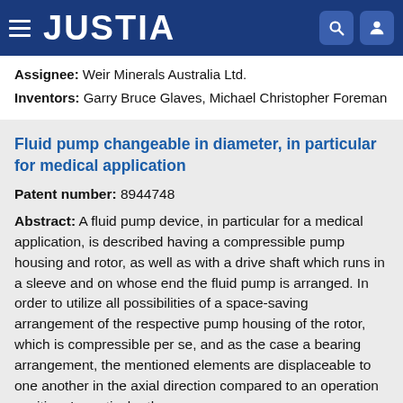JUSTIA
Assignee: Weir Minerals Australia Ltd.
Inventors: Garry Bruce Glaves, Michael Christopher Foreman
Fluid pump changeable in diameter, in particular for medical application
Patent number: 8944748
Abstract: A fluid pump device, in particular for a medical application, is described having a compressible pump housing and rotor, as well as with a drive shaft which runs in a sleeve and on whose end the fluid pump is arranged. In order to utilize all possibilities of a space-saving arrangement of the respective pump housing of the rotor, which is compressible per se, and as the case a bearing arrangement, the mentioned elements are displaceable to one another in the axial direction compared to an operation position. In particular these